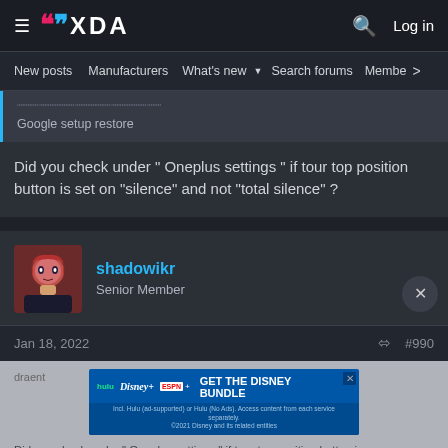XDA — Log in
New posts  Manufacturers  What's new  Search forums  Members  >
Google setup restore
Did you check under " Oneplus settings " if tour top position button is set on "silence" and not "total silence" ?
shadowikr
Senior Member
Jan 18, 2022
#990
[Figure (screenshot): Disney bundle advertisement banner with Hulu, Disney+, ESPN+ logos and CTA 'GET THE DISNEY BUNDLE']
Did you check under " Oneplus settings " if tour top position button is